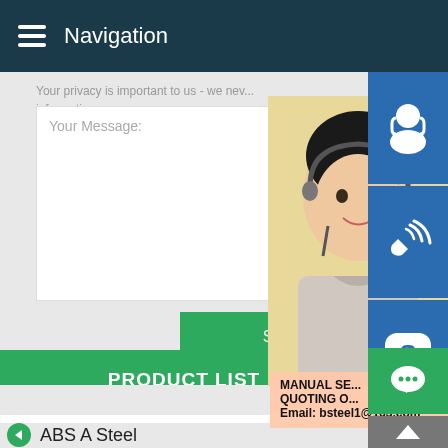Navigation
Your privacy is important to us - we never share your information.
Your Message:
Send Enquiry Now
MANUAL SE...
QUOTING O...
Email: bsteel1@163.com
[Figure (photo): Customer service representative woman wearing headset, smiling]
PRODUCT LIST
ABS A Steel